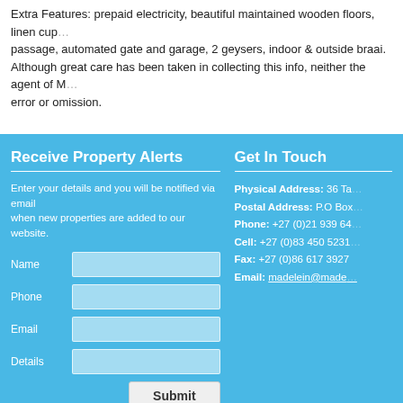Extra Features: prepaid electricity, beautiful maintained wooden floors, linen cupboards in passage, automated gate and garage, 2 geysers, indoor & outside braai. Although great care has been taken in collecting this info, neither the agent of M… error or omission.
Receive Property Alerts
Enter your details and you will be notified via email when new properties are added to our website.
Get In Touch
Physical Address: 36 Ta…
Postal Address: P.O Box…
Phone: +27 (0)21 939 64…
Cell: +27 (0)83 450 5231…
Fax: +27 (0)86 617 3927
Email: madelein@made…
©2022 web-box [Disclaimer] [Privacy Policy]
See latest COVID-19 updates on g…